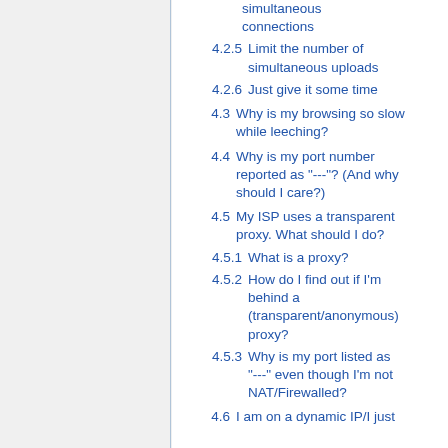4.2.5  Limit the number of simultaneous uploads
4.2.6  Just give it some time
4.3  Why is my browsing so slow while leeching?
4.4  Why is my port number reported as "---"? (And why should I care?)
4.5  My ISP uses a transparent proxy. What should I do?
4.5.1  What is a proxy?
4.5.2  How do I find out if I'm behind a (transparent/anonymous) proxy?
4.5.3  Why is my port listed as "---" even though I'm not NAT/Firewalled?
4.6  I am on a dynamic IP/I just